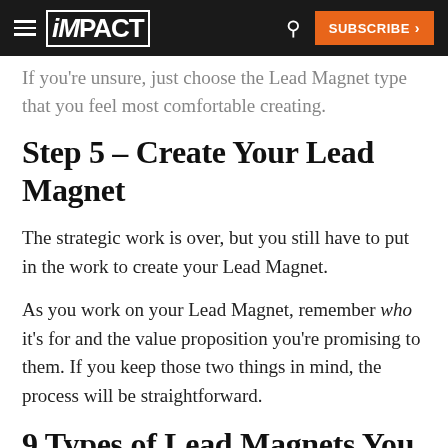iMPACT | SUBSCRIBE
If you're unsure, just choose the Lead Magnet type that you feel most comfortable creating.
Step 5 – Create Your Lead Magnet
The strategic work is over, but you still have to put in the work to create your Lead Magnet.
As you work on your Lead Magnet, remember who it's for and the value proposition you're promising to them. If you keep those two things in mind, the process will be straightforward.
9 Types of Lead Magnets You Can